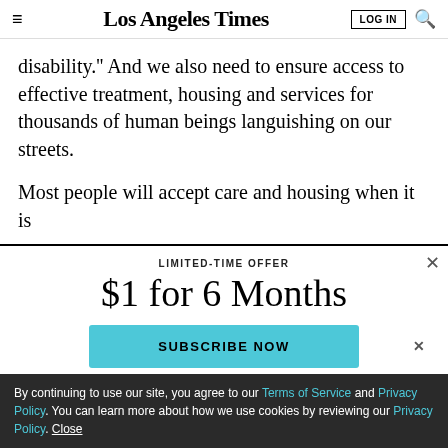Los Angeles Times
disability.'' And we also need to ensure access to effective treatment, housing and services for thousands of human beings languishing on our streets.
Most people will accept care and housing when it is
LIMITED-TIME OFFER
$1 for 6 Months
SUBSCRIBE NOW
By continuing to use our site, you agree to our Terms of Service and Privacy Policy. You can learn more about how we use cookies by reviewing our Privacy Policy. Close